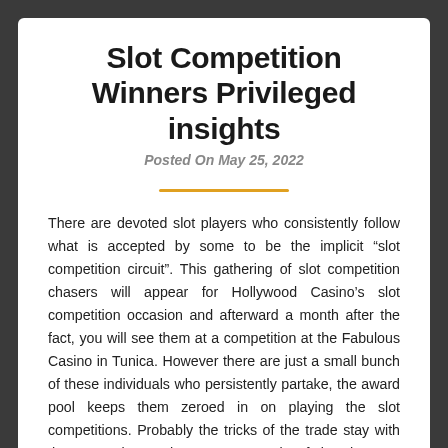Slot Competition Winners Privileged insights
Posted On May 25, 2022
There are devoted slot players who consistently follow what is accepted by some to be the implicit “slot competition circuit”. This gathering of slot competition chasers will appear for Hollywood Casino’s slot competition occasion and afterward a month after the fact, you will see them at a competition at the Fabulous Casino in Tunica. However there are just a small bunch of these individuals who persistently partake, the award pool keeps them zeroed in on playing the slot competitions. Probably the tricks of the trade stay with these people yet there are a couple of tips that you would be able “get on to” all alone. For example, in the